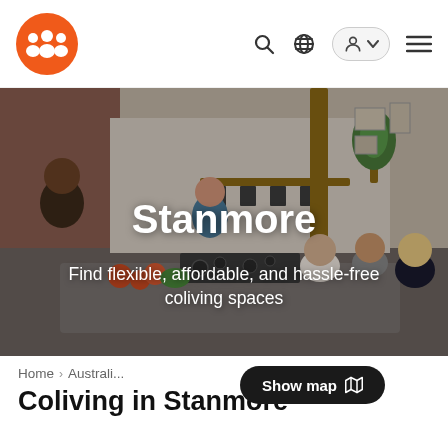Stanmore — coliving site navigation bar with logo, search, globe, account, and menu icons
[Figure (photo): Hero image of people socializing in a modern kitchen/living space, overlaid with location title 'Stanmore' and subtitle 'Find flexible, affordable, and hassle-free coliving spaces']
Stanmore
Find flexible, affordable, and hassle-free coliving spaces
Home > Australi...
Show map
Coliving in Stanmore